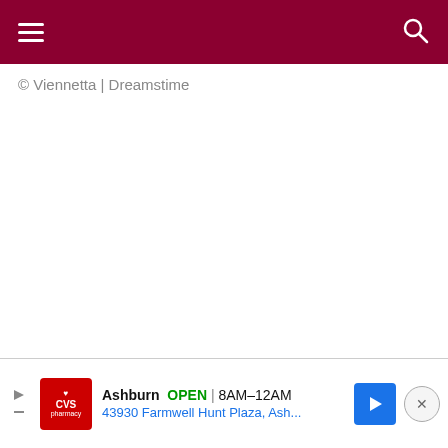Navigation menu and search
© Viennetta | Dreamstime
[Figure (other): Advertisement banner for CVS Pharmacy in Ashburn, showing OPEN 8AM-12AM and address 43930 Farmwell Hunt Plaza, Ash...]